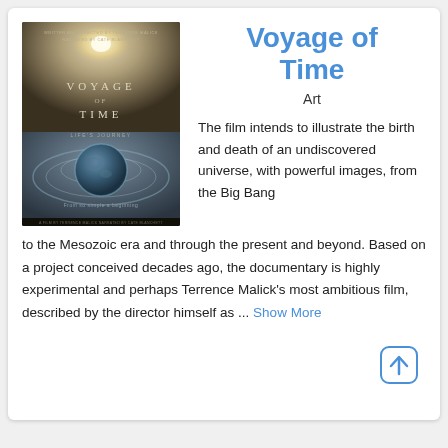[Figure (photo): Movie poster for 'Voyage of Time: Life's Journey' showing a cosmic ocean scene with a planet/sphere, text VOYAGE OF TIME and tagline 'From so simple a beginning']
Voyage of Time
Art
The film intends to illustrate the birth and death of an undiscovered universe, with powerful images, from the Big Bang to the Mesozoic era and through the present and beyond. Based on a project conceived decades ago, the documentary is highly experimental and perhaps Terrence Malick's most ambitious film, described by the director himself as ... Show More